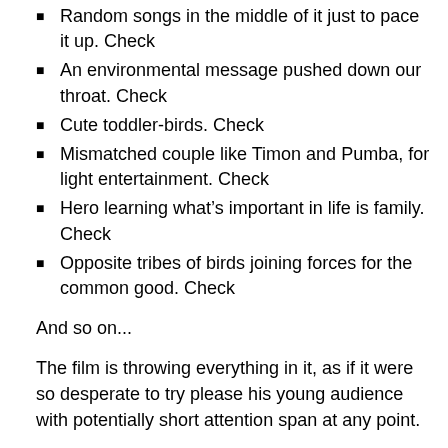Random songs in the middle of it just to pace it up. Check
An environmental message pushed down our throat. Check
Cute toddler-birds. Check
Mismatched couple like Timon and Pumba, for light entertainment. Check
Hero learning what's important in life is family. Check
Opposite tribes of birds joining forces for the common good. Check
And so on...
The film is throwing everything in it, as if it were so desperate to try please his young audience with potentially short attention span at any point.
The result is a film with lots of running and consuming